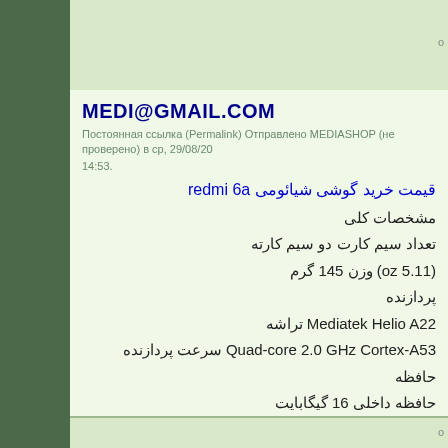MEDI@GMAIL.COM
Постоянная ссылка (Permalink) Отправлено MEDIASHOP (не проверено) в ср, 29/08/20 14:53.
قیمت خرید گوشی شیائومی redmi 6a
مشخصات کلی
تعداد سیم کارت دو سیم کارته
(5.11 oz) وزن 145 گرم
پردازنده
Mediatek Helio A22 تراشه
Quad-core 2.0 GHz Cortex-A53 سرعت پردازنده
حافظه
حافظه داخلی 16 گیگابایت
RAM 2 گیگابایت مقدار